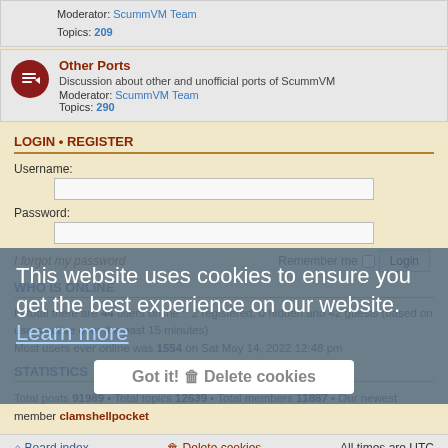Moderator: ScummVM Team
Topics: 209
Other Ports
Discussion about other and unofficial ports of ScummVM
Moderator: ScummVM Team
Topics: 290
LOGIN • REGISTER
Username:
Password:
I forgot my password    Remember me  [checkbox]  Login
WHO IS ONLINE
In total there are 44 users online :: 2 registered, 0 hidden and 42 guests (based on users active over the past 15 minutes)
Most users ever online was 1554 on Sat May 14, 2022 12:48 pm
STATISTICS
Total posts 91989 • Total topics 12639 • Total members 11887 • Our newest member clamshellpocket
Board index    Delete cookies    All times are UTC
Powered by phpBB® Forum Software © phpBB Limited
This website uses cookies to ensure you get the best experience on our website. Learn more
Got it!